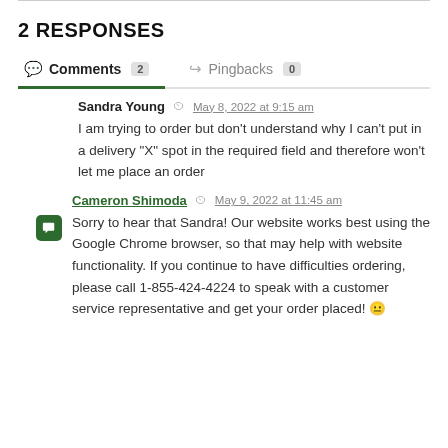2 RESPONSES
Comments 2   Pingbacks 0
Sandra Young   May 8, 2022 at 9:15 am
I am trying to order but don’t understand why I can’t put in a delivery “X” spot in the required field and therefore won’t let me place an order
Cameron Shimoda   May 9, 2022 at 11:45 am
Sorry to hear that Sandra! Our website works best using the Google Chrome browser, so that may help with website functionality. If you continue to have difficulties ordering, please call 1-855-424-4224 to speak with a customer service representative and get your order placed! 😐